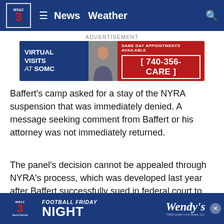WSAZ 3  News  Weather
ADVERTISEMENT
[Figure (screenshot): SOMC Virtual Visits advertisement banner: left side blue with 'VIRTUAL VISITS at SOMC', center shows a person photo, right side red with 'SAME DAY APPOINTMENTS AVAILABLE [740-356-CARE]']
Baffert's camp asked for a stay of the NYRA suspension that was immediately denied. A message seeking comment from Baffert or his attorney was not immediately returned.
The panel's decision cannot be appealed through NYRA's process, which was developed last year after Baffert successfully sued in federal court to get his initial suspension in the state of New York lifted. Baffert is also fighting in federal court against the Churchill Downs ban that ma 2022 and '23
[Figure (screenshot): WSAZ 3 NewsChannel Football Friday Night sponsored by Wendy's sticky bottom banner advertisement]